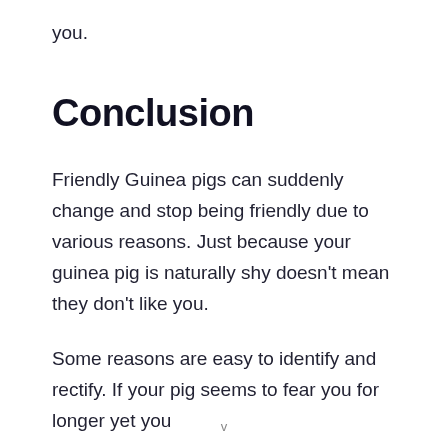you.
Conclusion
Friendly Guinea pigs can suddenly change and stop being friendly due to various reasons. Just because your guinea pig is naturally shy doesn't mean they don't like you.
Some reasons are easy to identify and rectify. If your pig seems to fear you for longer yet you
v